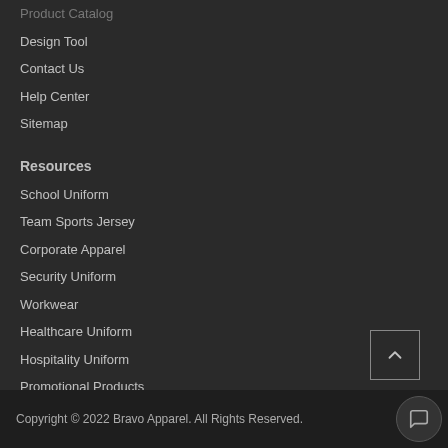Product Catalog
Design Tool
Contact Us
Help Center
Sitemap
Resources
School Uniform
Team Sports Jersey
Corporate Apparel
Security Uniform
Workwear
Healthcare Uniform
Hospitality Uniform
Promotional Products
Copyright © 2022 Bravo Apparel. All Rights Reserved.